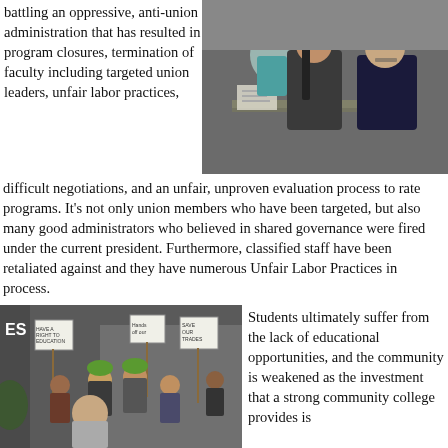battling an oppressive, anti-union administration that has resulted in program closures, termination of faculty including targeted union leaders, unfair labor practices,
[Figure (photo): People seated at a table during a formal meeting or board session, men in suits visible in the foreground]
difficult negotiations, and an unfair, unproven evaluation process to rate programs. It's not only union members who have been targeted, but also many good administrators who believed in shared governance were fired under the current president. Furthermore, classified staff have been retaliated against and they have numerous Unfair Labor Practices in process.
[Figure (photo): A group of protesters holding signs outdoors, some wearing hard hats, signs visible including 'Save our Trades']
Students ultimately suffer from the lack of educational opportunities, and the community is weakened as the investment that a strong community college provides is